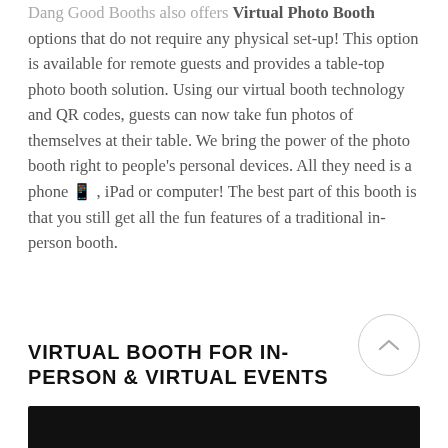Dang Good Booths also offers Virtual Photo Booth options that do not require any physical set-up! This option is available for remote guests and provides a table-top photo booth solution. Using our virtual booth technology and QR codes, guests can now take fun photos of themselves at their table. We bring the power of the photo booth right to people's personal devices. All they need is a phone 📱, iPad or computer! The best part of this booth is that you still get all the fun features of a traditional in-person booth.
VIRTUAL BOOTH FOR IN-PERSON & VIRTUAL EVENTS
[Figure (photo): Black image strip at the bottom of the page, partially visible]